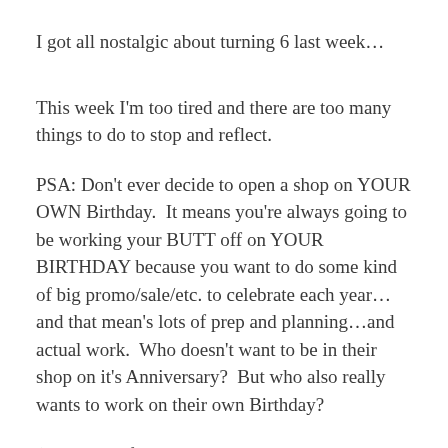I got all nostalgic about turning 6 last week…
This week I'm too tired and there are too many things to do to stop and reflect.
PSA: Don't ever decide to open a shop on YOUR OWN Birthday.  It means you're always going to be working your BUTT off on YOUR BIRTHDAY because you want to do some kind of big promo/sale/etc. to celebrate each year…and that mean's lots of prep and planning…and actual work.  Who doesn't want to be in their shop on it's Anniversary?  But who also really wants to work on their own Birthday?
(For those of you who're new here, Plume was my 40th Birthday Present to myself.  Our opening day was November 1st, 2013, which was my 40th birthday